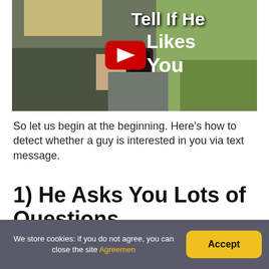[Figure (screenshot): YouTube video thumbnail showing a woman holding a phone with text 'Tell If He Likes You' and a YouTube play button overlay]
So let us begin at the beginning. Here's how to detect whether a guy is interested in you via text message.
1) He Asks You Lots of Questions
We store cookies: if you do not agree, you can close the site Agreemen